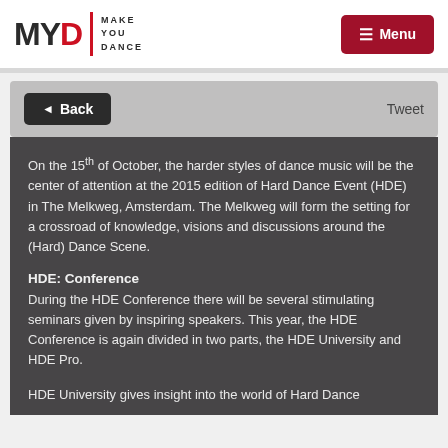[Figure (logo): MYD Make You Dance logo with red D and red vertical divider, followed by MAKE YOU DANCE text]
☰ Menu
◄ Back
Tweet
On the 15th of October, the harder styles of dance music will be the center of attention at the 2015 edition of Hard Dance Event (HDE) in The Melkweg, Amsterdam. The Melkweg will form the setting for a crossroad of knowledge, visions and discussions around the (Hard) Dance Scene.
HDE: Conference
During the HDE Conference there will be several stimulating seminars given by inspiring speakers. This year, the HDE Conference is again divided in two parts, the HDE University and HDE Pro.
HDE University gives insight into the world of Hard Dance